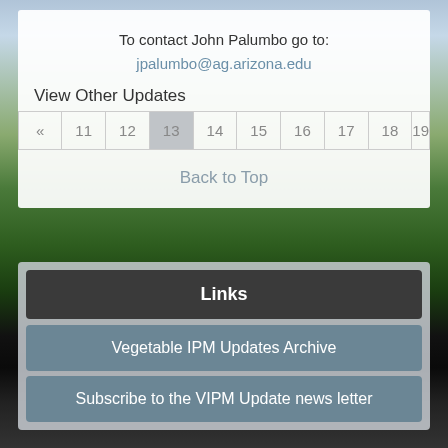To contact John Palumbo go to:
jpalumbo@ag.arizona.edu
View Other Updates
| « | 11 | 12 | 13 | 14 | 15 | 16 | 17 | 18 | 19 |
| --- | --- | --- | --- | --- | --- | --- | --- | --- | --- |
Back to Top
Links
Vegetable IPM Updates Archive
Subscribe to the VIPM Update news letter